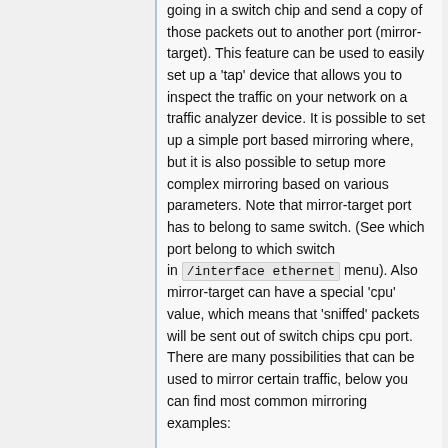going in a switch chip and send a copy of those packets out to another port (mirror-target). This feature can be used to easily set up a 'tap' device that allows you to inspect the traffic on your network on a traffic analyzer device. It is possible to set up a simple port based mirroring where, but it is also possible to setup more complex mirroring based on various parameters. Note that mirror-target port has to belong to same switch. (See which port belong to which switch in /interface ethernet menu). Also mirror-target can have a special 'cpu' value, which means that 'sniffed' packets will be sent out of switch chips cpu port. There are many possibilities that can be used to mirror certain traffic, below you can find most common mirroring examples:
Port Based Mirroring
/interface ethernet switch
set switch1 mirror-source=ether2 mirror-target=ether3